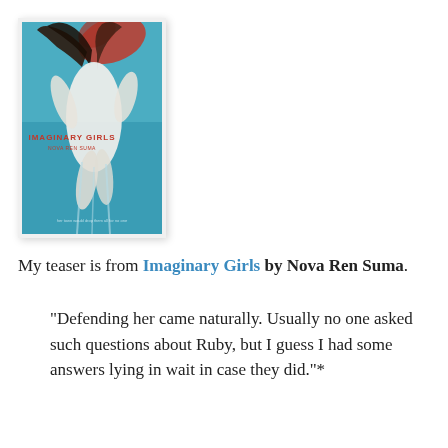[Figure (illustration): Book cover of 'Imaginary Girls' by Nova Ren Suma, showing a girl in a white dress floating underwater with long dark hair spread above her against a blue background, with red accents at the top.]
My teaser is from Imaginary Girls by Nova Ren Suma.
"Defending her came naturally. Usually no one asked such questions about Ruby, but I guess I had some answers lying in wait in case they did."*